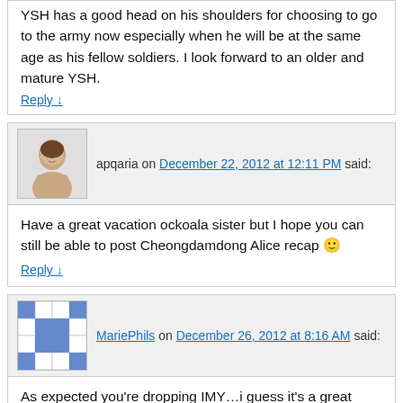YSH has a good head on his shoulders for choosing to go to the army now especially when he will be at the same age as his fellow soldiers. I look forward to an older and mature YSH.
Reply ↓
apqaria on December 22, 2012 at 12:11 PM said:
Have a great vacation ockoala sister but I hope you can still be able to post Cheongdamdong Alice recap 🙂
Reply ↓
MariePhils on December 26, 2012 at 8:16 AM said:
As expected you're dropping IMY…i guess it's a great decision, lol! Anyway! I'll be looking forward with your recap on Flower Boy Next Door❤
Reply ↓
Maris on January 8, 2013 at 11:06 AM said:
It seems we have not seen the last of his projects before